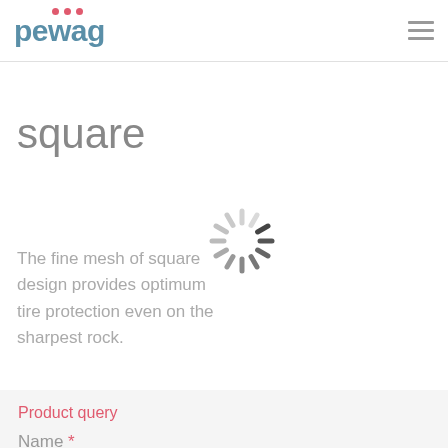pewag
square
[Figure (illustration): Loading spinner icon — a radial arrangement of dark and light grey dashes forming a circular loading indicator]
The fine mesh of square design provides optimum tire protection even on the sharpest rock.
Product query
Name *